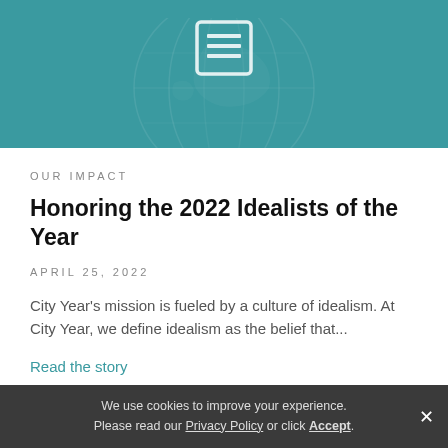[Figure (illustration): Teal hero banner with a newspaper/document icon centered at top and a faint globe watermark background]
OUR IMPACT
Honoring the 2022 Idealists of the Year
APRIL 25, 2022
City Year's mission is fueled by a culture of idealism. At City Year, we define idealism as the belief that...
Read the story
We use cookies to improve your experience. Please read our Privacy Policy or click Accept.